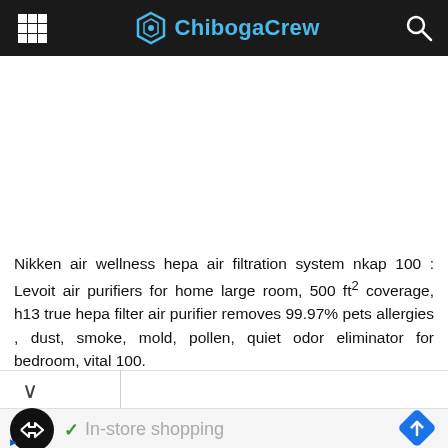ChibogaCrew
Nikken air wellness hepa air filtration system nkap 100 : Levoit air purifiers for home large room, 500 ft² coverage, h13 true hepa filter air purifier removes 99.97% pets allergies , dust, smoke, mold, pollen, quiet odor eliminator for bedroom, vital 100.
In-store shopping